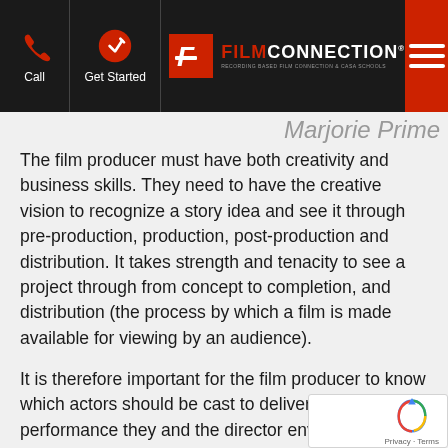Film Connection — Header navigation with Call, Get Started, Film Connection logo, and menu
Marjorie Prime
The film producer must have both creativity and business skills. They need to have the creative vision to recognize a story idea and see it through pre-production, production, post-production and distribution. It takes strength and tenacity to see a project through from concept to completion, and distribution (the process by which a film is made available for viewing by an audience).
It is therefore important for the film producer to know which actors should be cast to deliver the on-screen performance they and the director envision for the film. They need to be able to make sound business decisions to keep the project on-budget and on-schedule. Often th